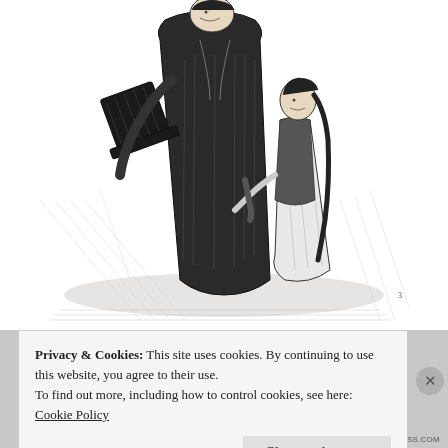[Figure (illustration): Black and white pen-and-ink illustration of a tall adult man in a long coat holding a top hat, standing next to a young girl with long braided hair who is looking up at him and holding his arm.]
Privacy & Cookies: This site uses cookies. By continuing to use this website, you agree to their use.
To find out more, including how to control cookies, see here: Cookie Policy
Close and accept